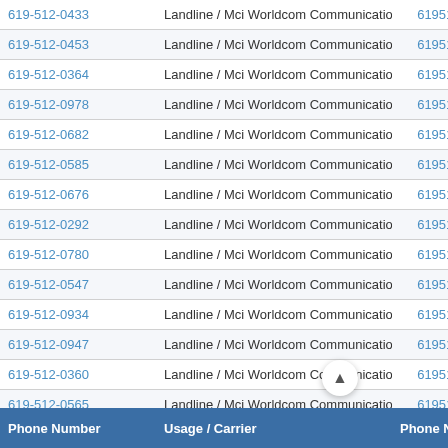| Phone Number | Usage / Carrier | Phone Number M |
| --- | --- | --- |
| 619-512-0433 | Landline / Mci Worldcom Communications, Ca | 61951204… |
| 619-512-0453 | Landline / Mci Worldcom Communications, Ca | 61951204… |
| 619-512-0364 | Landline / Mci Worldcom Communications, Ca | 61951203… |
| 619-512-0978 | Landline / Mci Worldcom Communications, Ca | 61951209… |
| 619-512-0682 | Landline / Mci Worldcom Communications, Ca | 61951206… |
| 619-512-0585 | Landline / Mci Worldcom Communications, Ca | 61951205… |
| 619-512-0676 | Landline / Mci Worldcom Communications, Ca | 61951206… |
| 619-512-0292 | Landline / Mci Worldcom Communications, Ca | 61951202… |
| 619-512-0780 | Landline / Mci Worldcom Communications, Ca | 61951207… |
| 619-512-0547 | Landline / Mci Worldcom Communications, Ca | 61951205… |
| 619-512-0934 | Landline / Mci Worldcom Communications, Ca | 61951209… |
| 619-512-0947 | Landline / Mci Worldcom Communications, Ca | 61951209… |
| 619-512-0360 | Landline / Mci Worldcom Communications, Ca | 61951203… |
| 619-512-0565 | Landline / Mci Worldcom Communications, Ca | 61951205… |
| 619-512-0168 | Landline / Mci Worldcom Communications, Ca | 016… |
| 619-512-0761 | Landline / Mci Worldcom Communications, Ca | 076… |